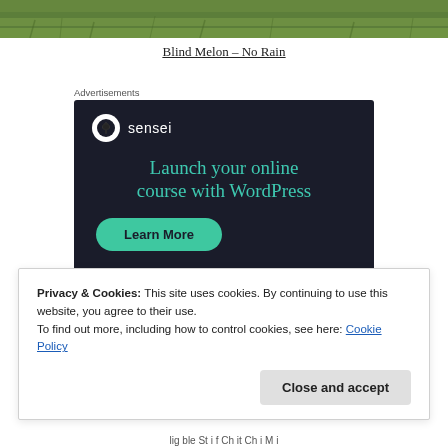[Figure (photo): Green grass/lawn photo strip at top of page]
Blind Melon – No Rain
Advertisements
[Figure (illustration): Sensei advertisement: dark navy background, Sensei logo (tree icon in white circle), text 'Launch your online course with WordPress', 'Learn More' teal button]
Privacy & Cookies: This site uses cookies. By continuing to use this website, you agree to their use.
To find out more, including how to control cookies, see here: Cookie Policy
Close and accept